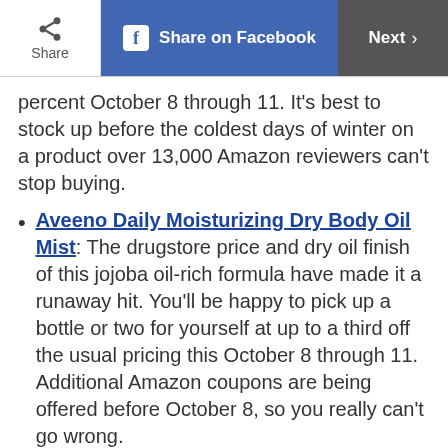Share | Share on Facebook | Next
percent October 8 through 11. It’s best to stock up before the coldest days of winter on a product over 13,000 Amazon reviewers can’t stop buying.
Aveeno Daily Moisturizing Dry Body Oil Mist: The drugstore price and dry oil finish of this jojoba oil-rich formula have made it a runaway hit. You’ll be happy to pick up a bottle or two for yourself at up to a third off the usual pricing this October 8 through 11. Additional Amazon coupons are being offered before October 8, so you really can’t go wrong.